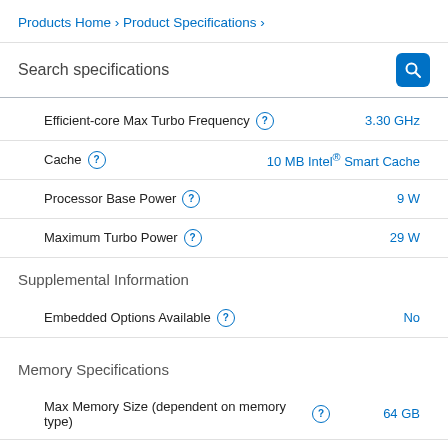Products Home › Product Specifications ›
Search specifications
| Specification | Value |
| --- | --- |
| Efficient-core Max Turbo Frequency ? | 3.30 GHz |
| Cache ? | 10 MB Intel® Smart Cache |
| Processor Base Power ? | 9 W |
| Maximum Turbo Power ? | 29 W |
Supplemental Information
| Specification | Value |
| --- | --- |
| Embedded Options Available ? | No |
Memory Specifications
| Specification | Value |
| --- | --- |
| Max Memory Size (dependent on memory type) ? | 64 GB |